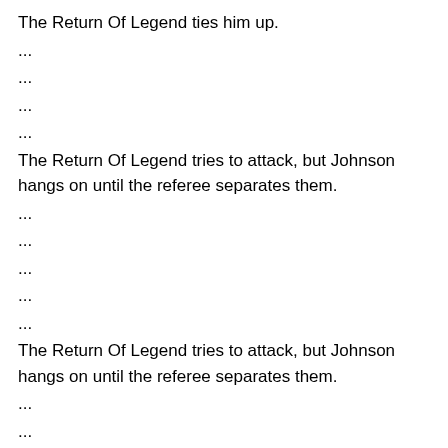The Return Of Legend ties him up.
...
...
...
...
The Return Of Legend tries to attack, but Johnson hangs on until the referee separates them.
...
...
...
...
...
The Return Of Legend tries to attack, but Johnson hangs on until the referee separates them.
...
...
...
...